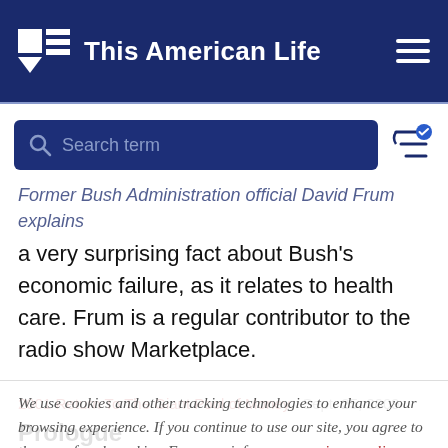This American Life
Search term
Former Bush Administration official David Frum explains a very surprising fact about Bush's economic failure, as it relates to health care. Frum is a regular contributor to the radio show Marketplace.
We use cookies and other tracking technologies to enhance your browsing experience. If you continue to use our site, you agree to the use of such cookies. For more info, see our privacy policy.
2001 Return To The Giant Pool of Money
Sept. 25, 2009
Prologue
Host Ira Glass talks with NPR correspondent Adam Davidson about a black-tie event he attended in the spring of 2008. The event was an awards dinner for finance